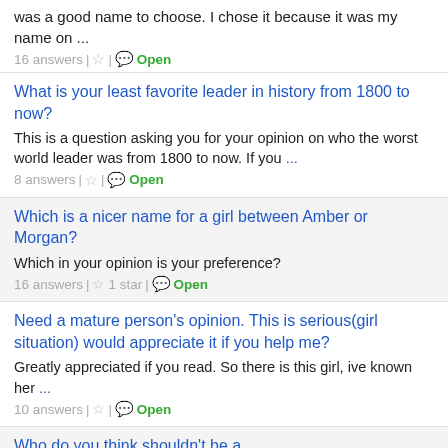was a good name to choose. I chose it because it was my name on ...
16 answers | ☆ | 💬 Open
What is your least favorite leader in history from 1800 to now?
This is a question asking you for your opinion on who the worst world leader was from 1800 to now. If you ...
8 answers | ☆ | 💬 Open
Which is a nicer name for a girl between Amber or Morgan?
Which in your opinion is your preference?
16 answers | ☆ 1 star | 💬 Open
Need a mature person's opinion. This is serious(girl situation) would appreciate it if you help me?
Greatly appreciated if you read. So there is this girl, ive known her ...
10 answers | ☆ | 💬 Open
Who do you think shouldn't be a